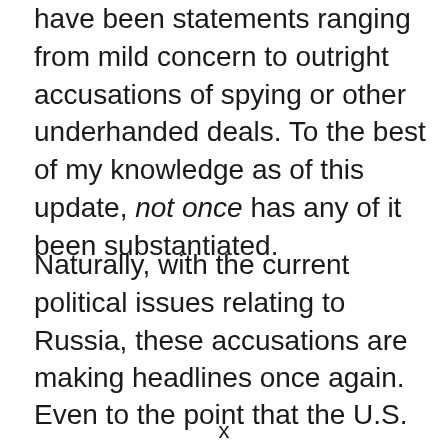have been statements ranging from mild concern to outright accusations of spying or other underhanded deals. To the best of my knowledge as of this update, not once has any of it been substantiated.
Naturally, with the current political issues relating to Russia, these accusations are making headlines once again.
Even to the point that the U.S.
x